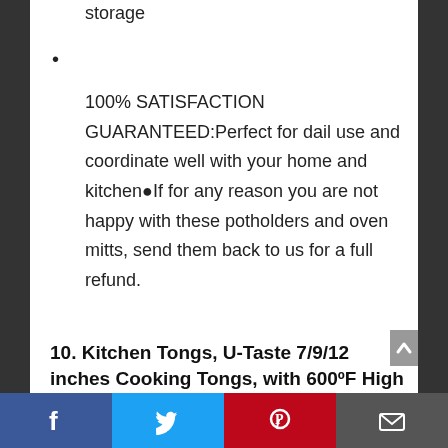storage
100% SATISFACTION GUARANTEED:Perfect for dail use and coordinate well with your home and kitchen▯If for any reason you are not happy with these potholders and oven mitts, send them back to us for a full refund.
10. Kitchen Tongs, U-Taste 7/9/12 inches Cooking Tongs, with 600ºF High Heat-Resistant Non-Stick Silicone Tips&18/8 Stainless Steel Handle, for Food Grill, Salad, BBQ,